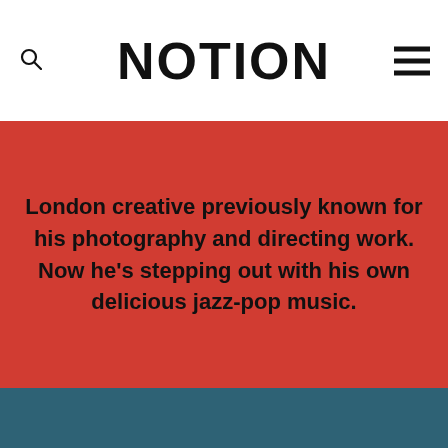NOTION
London creative previously known for his photography and directing work. Now he's stepping out with his own delicious jazz-pop music.
"Come Through" by Anansi